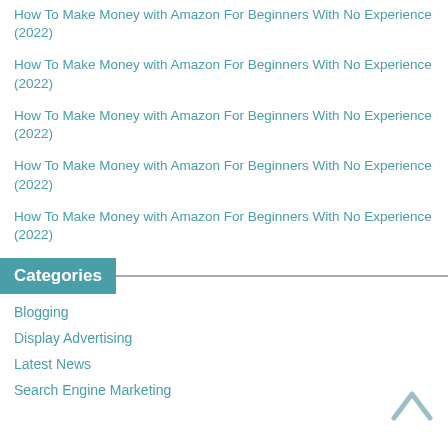How To Make Money with Amazon For Beginners With No Experience (2022)
How To Make Money with Amazon For Beginners With No Experience (2022)
How To Make Money with Amazon For Beginners With No Experience (2022)
How To Make Money with Amazon For Beginners With No Experience (2022)
How To Make Money with Amazon For Beginners With No Experience (2022)
Categories
Blogging
Display Advertising
Latest News
Search Engine Marketing